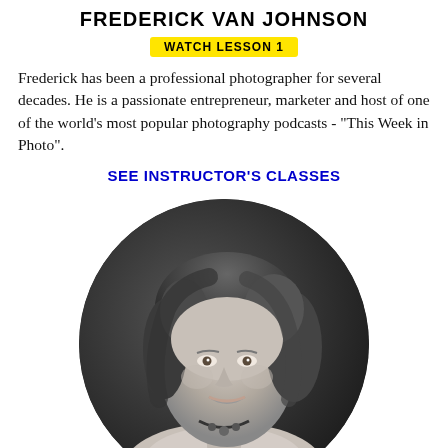FREDERICK VAN JOHNSON
WATCH LESSON 1
Frederick has been a professional photographer for several decades. He is a passionate entrepreneur, marketer and host of one of the world’s most popular photography podcasts - “This Week in Photo”.
SEE INSTRUCTOR'S CLASSES
[Figure (photo): Black and white circular portrait photo of a woman with curly hair, smiling, wearing a necklace and light colored top, photographed against a dark background.]